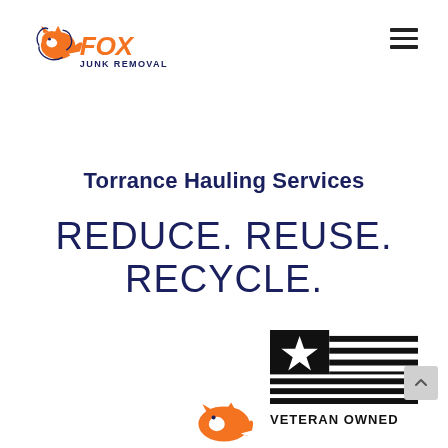[Figure (logo): Fox Junk Removal logo with orange fox graphic and orange/blue text]
[Figure (other): Hamburger menu icon (three horizontal lines)]
Torrance Hauling Services
REDUCE. REUSE. RECYCLE.
[Figure (illustration): Black and white American flag style badge with star, stripes, and text VETERAN OWNED]
[Figure (logo): Fox Junk Removal fox icon at bottom center of page]